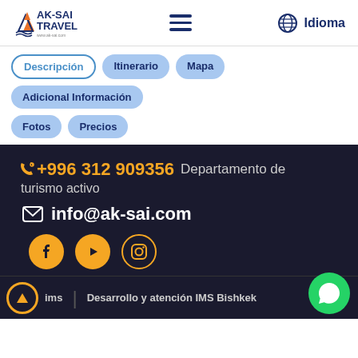[Figure (logo): AK-SAI TRAVEL logo with mountain/wave icon in orange and blue]
[Figure (infographic): Hamburger menu icon (three horizontal lines) in dark blue]
Idioma
Descripción
Itinerario
Mapa
Adicional Información
Fotos
Precios
+996 312 909356 Departamento de turismo activo
info@ak-sai.com
[Figure (infographic): Social media icons: Facebook, YouTube, Instagram in yellow/gold circles]
Desarrollo y atención IMS Bishkek